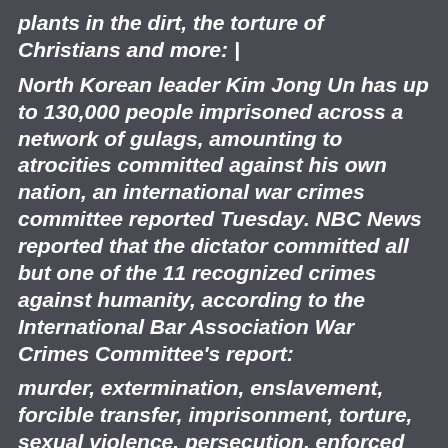plants in the dirt, the torture of Christians and more: |
North Korean leader Kim Jong Un has up to 130,000 people imprisoned across a network of gulags, amounting to atrocities committed against his own nation, an international war crimes committee reported Tuesday. NBC News reported that the dictator committed all but one of the 11 recognized crimes against humanity, according to the International Bar Association War Crimes Committee's report:
murder, extermination, enslavement, forcible transfer, imprisonment, torture, sexual violence, persecution, enforced disappearances and other inhumane acts. Defectors told the committee about a newborn being fed to guard dogs, executions of starving prisoners for scrounging for edible plants in the dirt, the torture of